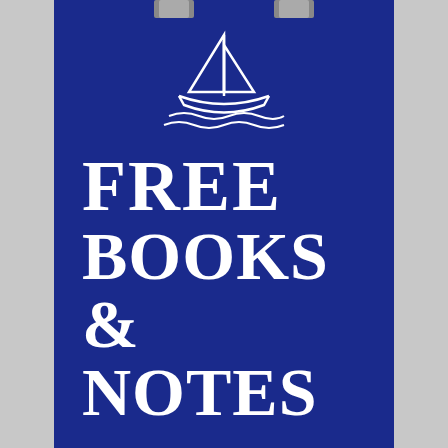[Figure (illustration): White outline sailboat icon on a dark navy blue background, showing a sail boat with triangular sails and wavy water lines beneath]
FREE BOOKS & NOTES